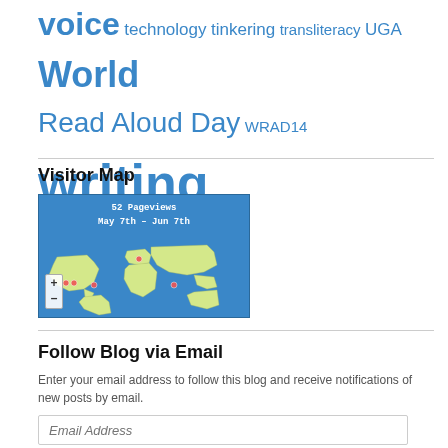voice technology tinkering transliteracy UGA World Read Aloud Day WRAD14 writing
Visitor Map
[Figure (map): Visitor map widget showing 52 Pageviews from May 7th – Jun 7th, world map with visitor location dots, zoom +/- controls]
Follow Blog via Email
Enter your email address to follow this blog and receive notifications of new posts by email.
Email Address